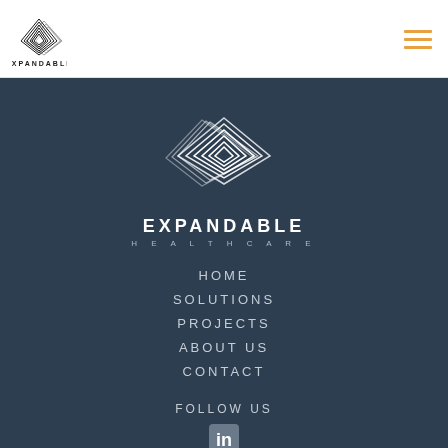[Figure (logo): Expandable Healthcare logo in header - diamond/nested squares icon with EXPANDABLE HEALTHCARE text]
[Figure (other): Hamburger menu icon with three orange horizontal lines]
[Figure (logo): Large Expandable Healthcare logo centered on dark background - nested diamond shapes with EXPANDABLE HEALTHCARE text]
HOME
SOLUTIONS
PROJECTS
ABOUT US
CONTACT
FOLLOW US
[Figure (logo): LinkedIn social media icon]